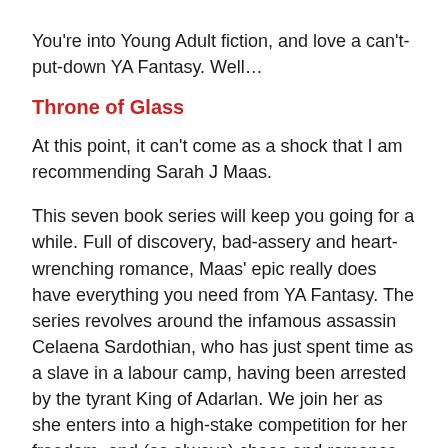You're into Young Adult fiction, and love a can't-put-down YA Fantasy. Well…
Throne of Glass
At this point, it can't come as a shock that I am recommending Sarah J Maas.
This seven book series will keep you going for a while. Full of discovery, bad-assery and heart-wrenching romance, Maas' epic really does have everything you need from YA Fantasy. The series revolves around the infamous assassin Celaena Sardothian, who has just spent time as a slave in a labour camp, having been arrested by the tyrant King of Adarlan. We join her as she enters into a high-stake competition for her freedom, and (as always) chaos and romance ensues.